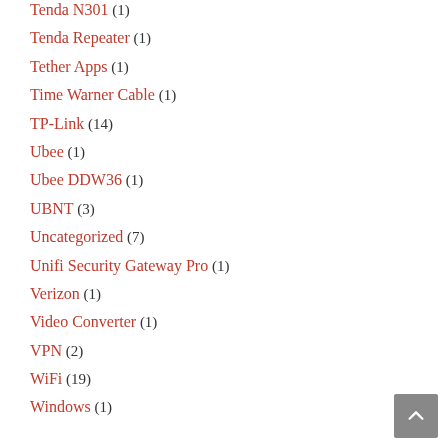Tenda N301 (1)
Tenda Repeater (1)
Tether Apps (1)
Time Warner Cable (1)
TP-Link (14)
Ubee (1)
Ubee DDW36 (1)
UBNT (3)
Uncategorized (7)
Unifi Security Gateway Pro (1)
Verizon (1)
Video Converter (1)
VPN (2)
WiFi (19)
Windows (1)